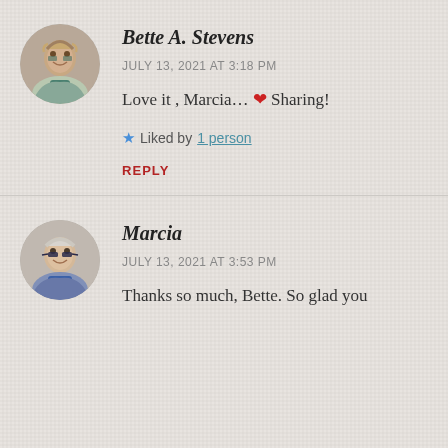[Figure (photo): Circular avatar photo of Bette A. Stevens, a woman with curly hair and glasses wearing a teal scarf]
Bette A. Stevens
JULY 13, 2021 AT 3:18 PM
Love it , Marcia... ❤ Sharing!
★ Liked by 1 person
REPLY
[Figure (photo): Circular avatar photo of Marcia, a woman with gray hair and glasses]
Marcia
JULY 13, 2021 AT 3:53 PM
Thanks so much, Bette. So glad you